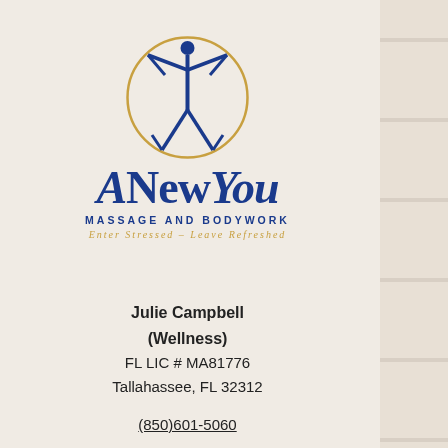[Figure (logo): A New You Massage and Bodywork logo: a blue Vitruvian-man figure inside a gold circle, with the cursive text 'ANewYou' in dark blue, 'MASSAGE AND BODYWORK' in blue caps, and tagline 'Enter Stressed - Leave Refreshed' in gold italic]
Julie Campbell
(Wellness)
FL LIC # MA81776
Tallahassee, FL 32312
(850)601-5060